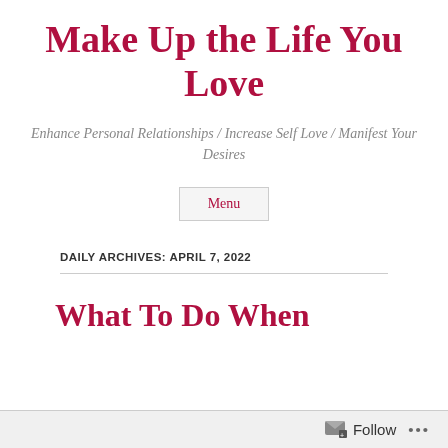Make Up the Life You Love
Enhance Personal Relationships / Increase Self Love / Manifest Your Desires
Menu
DAILY ARCHIVES: APRIL 7, 2022
What To Do When
Follow ...